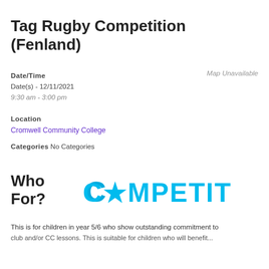Tag Rugby Competition (Fenland)
Date/Time
Date(s) - 12/11/2021
9:30 am - 3:00 pm
Map Unavailable
Location
Cromwell Community College
Categories No Categories
Who For?
[Figure (logo): Competitive badge with bold cyan/blue stylized text reading COMPETITIVE with a star icon replacing the O]
This is for children in year 5/6 who show outstanding commitment to